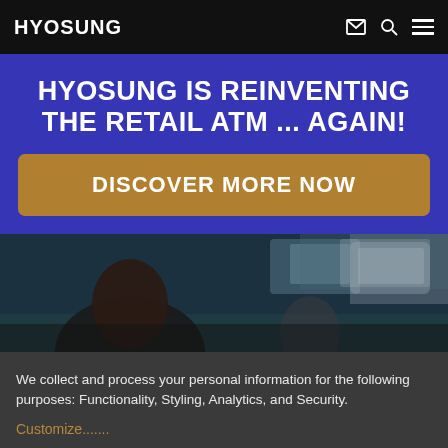HYOSUNG
HYOSUNG IS REINVENTING THE RETAIL ATM ... AGAIN!
DISCOVER MORE NOW
[Figure (photo): Background photo of person using an ATM machine, dark teal toned image]
We collect and process your personal information for the following purposes: Functionality, Styling, Analytics, and Security.
Customize.......
I decline  That's ok